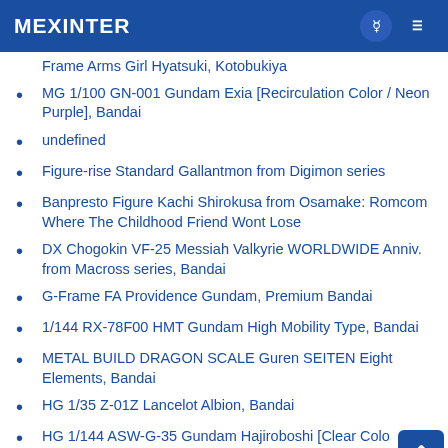MEXINTER
Frame Arms Girl Hyatsuki, Kotobukiya
MG 1/100 GN-001 Gundam Exia [Recirculation Color / Neon Purple], Bandai
undefined
Figure-rise Standard Gallantmon from Digimon series
Banpresto Figure Kachi Shirokusa from Osamake: Romcom Where The Childhood Friend Wont Lose
DX Chogokin VF-25 Messiah Valkyrie WORLDWIDE Anniv. from Macross series, Bandai
G-Frame FA Providence Gundam, Premium Bandai
1/144 RX-78F00 HMT Gundam High Mobility Type, Bandai
METAL BUILD DRAGON SCALE Guren SEITEN Eight Elements, Bandai
HG 1/35 Z-01Z Lancelot Albion, Bandai
HG 1/144 ASW-G-35 Gundam Hajiroboshi [Clear Color] Event Limited Bandai